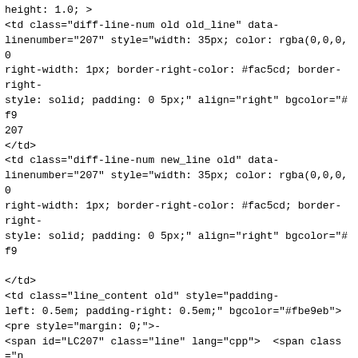height: 1.0; >
<td class="diff-line-num old old_line" data-linenumber="207" style="width: 35px; color: rgba(0,0,0,0 right-width: 1px; border-right-color: #fac5cd; border-right-
style: solid; padding: 0 5px;" align="right" bgcolor="#f9
207
</td>
<td class="diff-line-num new_line old" data-linenumber="207" style="width: 35px; color: rgba(0,0,0,0 right-width: 1px; border-right-color: #fac5cd; border-right-
style: solid; padding: 0 5px;" align="right" bgcolor="#f9

</td>
<td class="line_content old" style="padding-left: 0.5em; padding-right: 0.5em;" bgcolor="#fbe9eb">
<pre style="margin: 0;">-
<span id="LC207" class="line" lang="cpp">  <span class="n"
<span class="p">(</span>
<span class="s" style="color: #d14;">"SUBSYSTEM==</span>
</span><span class="se" style="color: #d14;">\"</span>
<span class="s" style="color: #d14;">usb</span>
<span class="se" style="color: #d14;">\"</span>
<span class="s" style="color: #d14;">, ATTRS{idVendor}==</span>
</span><span class="se" style="color: #d14;">\"</span>
<span class="s" style="color: #d14;">%04x</span>
<span class="se" style="color: #d14;">\"</span>
<span class="s" style="color: #d14;">, ATTRS{idProduct}==</span>
</span><span class="se" style="color: #d14;">\"</span>
<span class="s" style="color: #d14;">%04x</span>